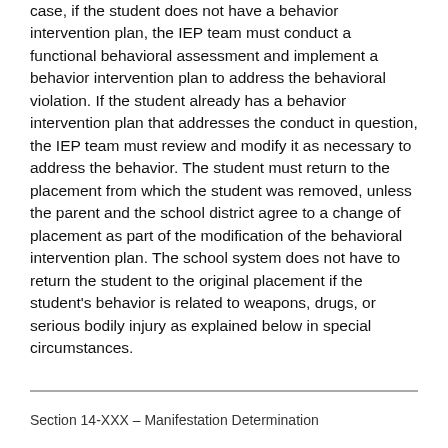case, if the student does not have a behavior intervention plan, the IEP team must conduct a functional behavioral assessment and implement a behavior intervention plan to address the behavioral violation. If the student already has a behavior intervention plan that addresses the conduct in question, the IEP team must review and modify it as necessary to address the behavior. The student must return to the placement from which the student was removed, unless the parent and the school district agree to a change of placement as part of the modification of the behavioral intervention plan. The school system does not have to return the student to the original placement if the student's behavior is related to weapons, drugs, or serious bodily injury as explained below in special circumstances.
Section 14-XXX – Manifestation Determination